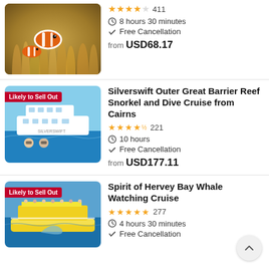[Figure (photo): Clownfish among sea anemones]
411 reviews, 8 hours 30 minutes, Free Cancellation, from USD68.17
[Figure (photo): Silverswift cruise boat with divers in ocean, badge: Likely to Sell Out]
Silverswift Outer Great Barrier Reef Snorkel and Dive Cruise from Cairns
221 reviews, 10 hours, Free Cancellation, from USD177.11
[Figure (photo): Yellow whale watching cruise boat on ocean, badge: Likely to Sell Out]
Spirit of Hervey Bay Whale Watching Cruise
277 reviews, 4 hours 30 minutes, Free Cancellation